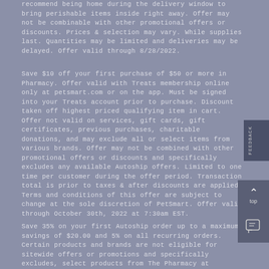recommend being home during the delivery window to bring perishable items inside right away. Offer may not be combinable with other promotional offers or discounts. Prices & selection may vary. While supplies last. Quantities may be limited and deliveries may be delayed. Offer valid through 8/28/2022.
Save $10 off your first purchase of $50 or more in Pharmacy. Offer valid with Treats membership online only at petsmart.com or on the app. Must be signed into your Treats account prior to purchase. Discount taken off highest priced qualifying item in cart. Offer not valid on services, gift cards, gift certificates, previous purchases, charitable donations, and may exclude all or select items from various brands. Offer may not be combined with other promotional offers or discounts and specifically excludes any available Autoship offers. Limited to one time per customer during the offer period. Transaction total is prior to taxes & after discounts are applied. Terms and conditions of this offer are subject to change at the sole discretion of PetSmart. Offer valid through October 30th, 2022 at 7:30am EST.
Save 35% on your first Autoship order up to a maximum savings of $20.00 and 5% on all recurring orders. Certain products and brands are not eligible for sitewide offers or promotions and specifically excludes, select products from The Pharmacy at PetSmart, all Royal Canin and Eukanuba